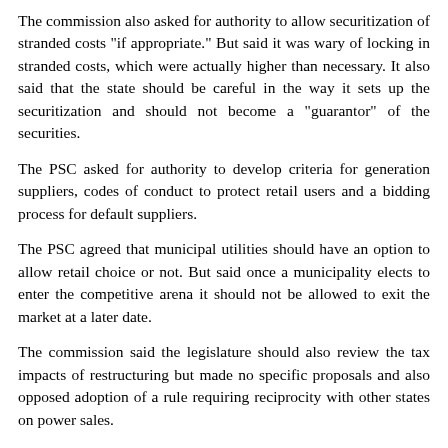The commission also asked for authority to allow securitization of stranded costs "if appropriate." But said it was wary of locking in stranded costs, which were actually higher than necessary. It also said that the state should be careful in the way it sets up the securitization and should not become a "guarantor" of the securities.
The PSC asked for authority to develop criteria for generation suppliers, codes of conduct to protect retail users and a bidding process for default suppliers.
The PSC agreed that municipal utilities should have an option to allow retail choice or not. But said once a municipality elects to enter the competitive arena it should not be allowed to exit the market at a later date.
The commission said the legislature should also review the tax impacts of restructuring but made no specific proposals and also opposed adoption of a rule requiring reciprocity with other states on power sales.
California - NEW
California voters soundly defeated Proposition 9 that would have overturned key portions of the state□s electric restructuring law and prohibited investor-owned utilities from recovering stranded